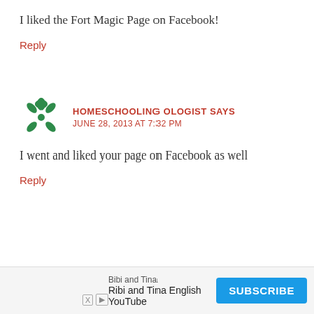I liked the Fort Magic Page on Facebook!
Reply
[Figure (logo): Green decorative avatar icon for Homeschooling Ologist commenter]
HOMESCHOOLING OLOGIST SAYS
JUNE 28, 2013 AT 7:32 PM
I went and liked your page on Facebook as well
Reply
[Figure (infographic): Advertisement banner: Bibi and Tina English YouTube channel with Subscribe button]